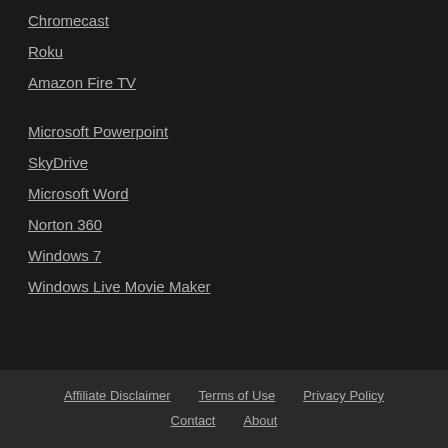Chromecast
Roku
Amazon Fire TV
Microsoft Powerpoint
SkyDrive
Microsoft Word
Norton 360
Windows 7
Windows Live Movie Maker
Affiliate Disclaimer   Terms of Use   Privacy Policy   Contact   About